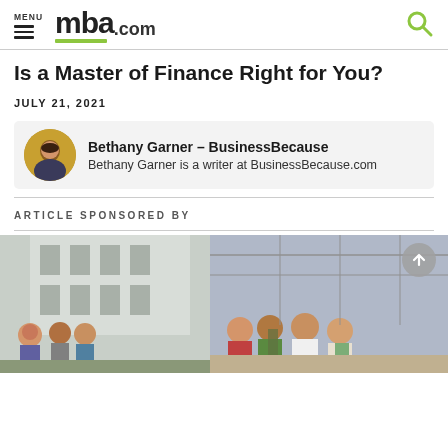MENU mba.com
Is a Master of Finance Right for You?
JULY 21, 2021
Bethany Garner - BusinessBecause
Bethany Garner is a writer at BusinessBecause.com
ARTICLE SPONSORED BY
[Figure (photo): Group of university students walking and smiling outdoors and indoors on campus]